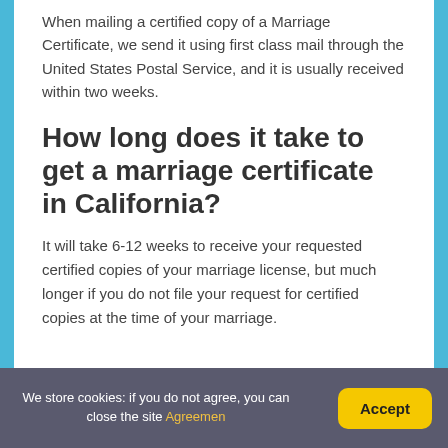When mailing a certified copy of a Marriage Certificate, we send it using first class mail through the United States Postal Service, and it is usually received within two weeks.
How long does it take to get a marriage certificate in California?
It will take 6-12 weeks to receive your requested certified copies of your marriage license, but much longer if you do not file your request for certified copies at the time of your marriage.
We store cookies: if you do not agree, you can close the site Agreemen